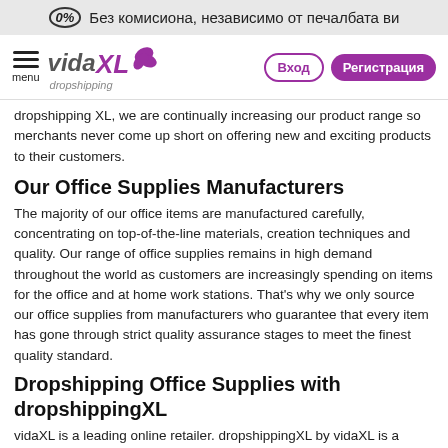(0%) Без комисиона, независимо от печалбата ви
[Figure (logo): vidaXL dropshipping logo with purple flower/swirl graphic, navigation menu icon, Вход (login) and Регистрация (register) buttons]
dropshipping XL, we are continually increasing our product range so merchants never come up short on offering new and exciting products to their customers.
Our Office Supplies Manufacturers
The majority of our office items are manufactured carefully, concentrating on top-of-the-line materials, creation techniques and quality. Our range of office supplies remains in high demand throughout the world as customers are increasingly spending on items for the office and at home work stations. That's why we only source our office supplies from manufacturers who guarantee that every item has gone through strict quality assurance stages to meet the finest quality standard.
Dropshipping Office Supplies with dropshippingXL
vidaXL is a leading online retailer. dropshippingXL by vidaXL is a